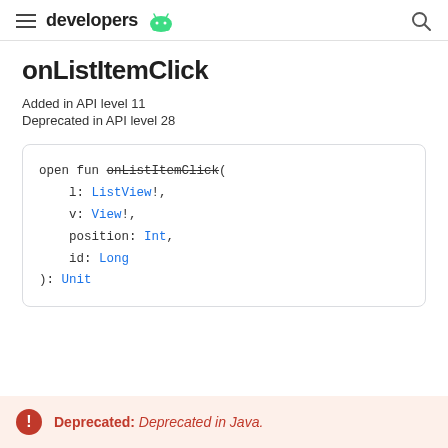developers
onListItemClick
Added in API level 11
Deprecated in API level 28
[Figure (screenshot): Code block showing Kotlin function signature: open fun onListItemClick( l: ListView!, v: View!, position: Int, id: Long ): Unit]
Deprecated: Deprecated in Java.